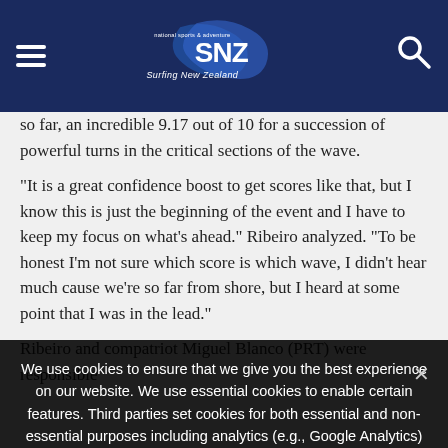Surfing New Zealand
so far, an incredible 9.17 out of 10 for a succession of powerful turns in the critical sections of the wave.
“It is a great confidence boost to get scores like that, but I know this is just the beginning of the event and I have to keep my focus on what’s ahead.” Ribeiro analyzed. “To be honest I’m not sure which score is which wave, I didn’t hear much cause we’re so far from shore, but I heard at some point that I was in the lead.”
Ribeiro and compatriot Miguel Blanco (PRT) were responsible
We use cookies to ensure that we give you the best experience on our website. We use essential cookies to enable certain features. Third parties set cookies for both essential and non-essential purposes including analytics (e.g., Google Analytics) and advertising. If you continue to use this site we will assume that you are happy with it.